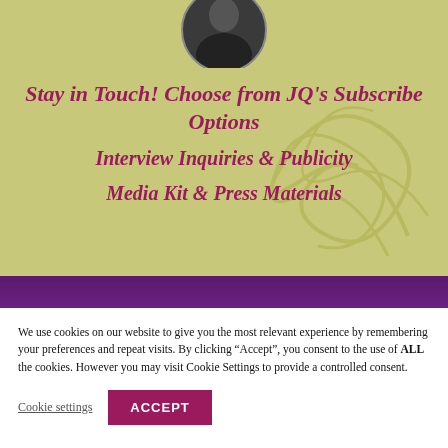[Figure (photo): Circular profile photo of a person at the top center of the olive green section]
Stay in Touch! Choose from JQ's Subscribe Options
Interview Inquiries & Publicity
Media Kit & Press Materials
We use cookies on our website to give you the most relevant experience by remembering your preferences and repeat visits. By clicking “Accept”, you consent to the use of ALL the cookies. However you may visit Cookie Settings to provide a controlled consent.
Cookie settings
ACCEPT
JQ... .com Updates
When is the next book coming out?